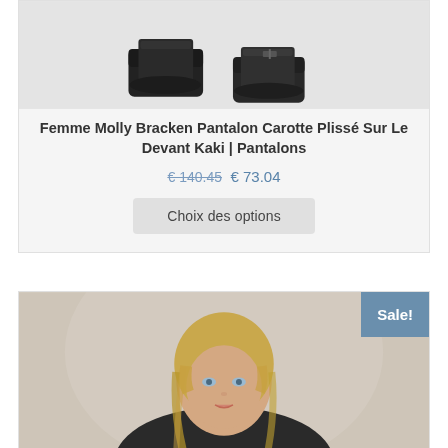[Figure (photo): Black shoes/boots on white background, cropped at bottom of image]
Femme Molly Bracken Pantalon Carotte Plissé Sur Le Devant Kaki | Pantalons
€ 140.45 € 73.04
Choix des options
[Figure (photo): Blonde female model photographed from shoulders up against beige background, with Sale! badge overlay]
Sale!